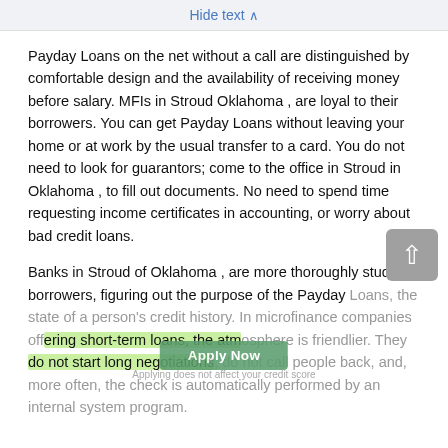Hide text ∧
Payday Loans on the net without a call are distinguished by comfortable design and the availability of receiving money before salary. MFIs in Stroud Oklahoma , are loyal to their borrowers. You can get Payday Loans without leaving your home or at work by the usual transfer to a card. You do not need to look for guarantors; come to the office in Stroud in Oklahoma , to fill out documents. No need to spend time requesting income certificates in accounting, or worry about bad credit loans.
Banks in Stroud of Oklahoma , are more thoroughly studying borrowers, figuring out the purpose of the Payday Loans, the state of a person's credit history. In microfinance companies offering short-term loans, the atmosphere is friendlier. They do not start long negotiations, do not call people back, and, more often, the check is automatically performed by an internal system program.